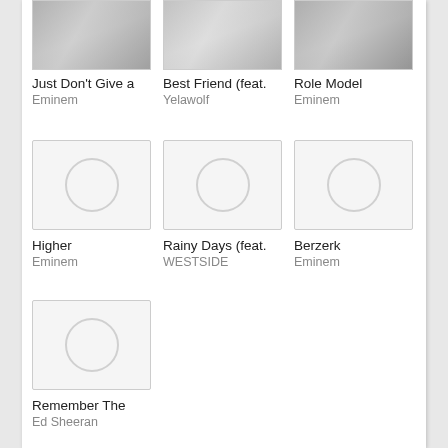[Figure (screenshot): Music app screenshot showing a grid of song items with album art thumbnails and song/artist labels]
Just Don't Give a
Eminem
Best Friend (feat.
Yelawolf
Role Model
Eminem
Higher
Eminem
Rainy Days (feat.
WESTSIDE
Berzerk
Eminem
Remember The
Ed Sheeran